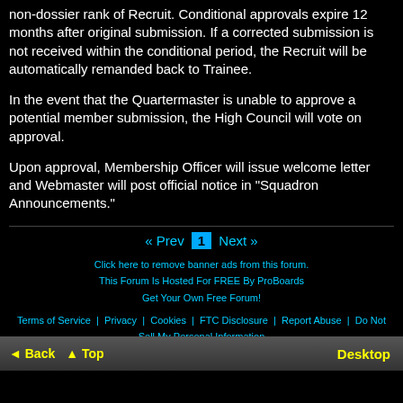non-dossier rank of Recruit. Conditional approvals expire 12 months after original submission. If a corrected submission is not received within the conditional period, the Recruit will be automatically remanded back to Trainee.
In the event that the Quartermaster is unable to approve a potential member submission, the High Council will vote on approval.
Upon approval, Membership Officer will issue welcome letter and Webmaster will post official notice in "Squadron Announcements."
« Prev  1  Next »
Click here to remove banner ads from this forum.
This Forum Is Hosted For FREE By ProBoards
Get Your Own Free Forum!
Terms of Service · Privacy · Cookies · FTC Disclosure · Report Abuse · Do Not Sell My Personal Information
◄ Back  ▲ Top  Desktop